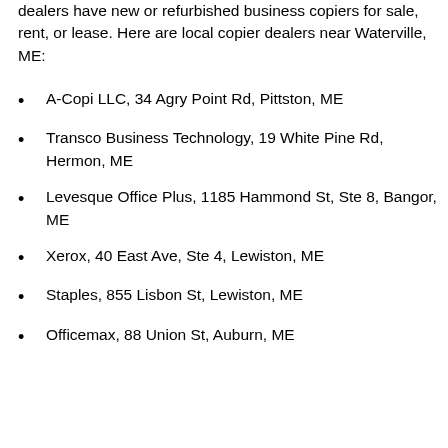dealers have new or refurbished business copiers for sale, rent, or lease. Here are local copier dealers near Waterville, ME:
A-Copi LLC, 34 Agry Point Rd, Pittston, ME
Transco Business Technology, 19 White Pine Rd, Hermon, ME
Levesque Office Plus, 1185 Hammond St, Ste 8, Bangor, ME
Xerox, 40 East Ave, Ste 4, Lewiston, ME
Staples, 855 Lisbon St, Lewiston, ME
Officemax, 88 Union St, Auburn, ME